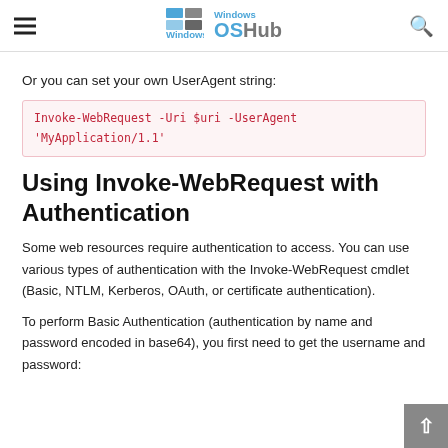Windows OSHub
Or you can set your own UserAgent string:
Invoke-WebRequest -Uri $uri -UserAgent 'MyApplication/1.1'
Using Invoke-WebRequest with Authentication
Some web resources require authentication to access. You can use various types of authentication with the Invoke-WebRequest cmdlet (Basic, NTLM, Kerberos, OAuth, or certificate authentication).
To perform Basic Authentication (authentication by name and password encoded in base64), you first need to get the username and password: